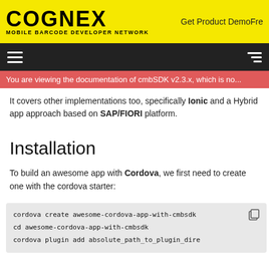COGNEX MOBILE BARCODE DEVELOPER NETWORK | Get Product DemoFre...
You are viewing the documentation of cmbSDK v2.3.x, which is no...
It covers other implementations too, specifically Ionic and a Hybrid app approach based on SAP/FIORI platform.
Installation
To build an awesome app with Cordova, we first need to create one with the cordova starter:
cordova create awesome-cordova-app-with-cmbsdk
cd awesome-cordova-app-with-cmbsdk
cordova plugin add absolute_path_to_plugin_dire